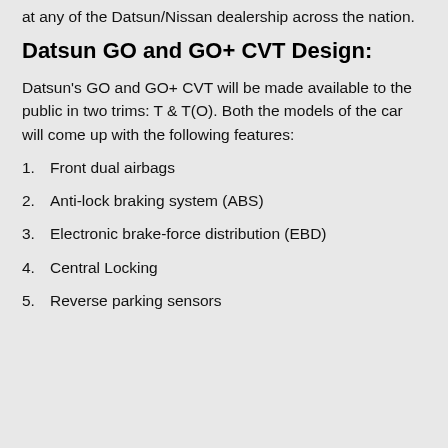at any of the Datsun/Nissan dealership across the nation.
Datsun GO and GO+ CVT Design:
Datsun's GO and GO+ CVT will be made available to the public in two trims: T & T(O). Both the models of the car will come up with the following features:
1. Front dual airbags
2. Anti-lock braking system (ABS)
3. Electronic brake-force distribution (EBD)
4. Central Locking
5. Reverse parking sensors